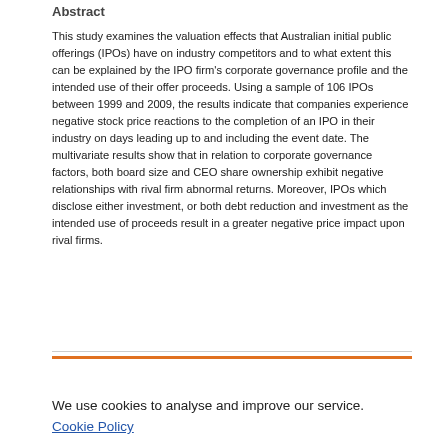Abstract
This study examines the valuation effects that Australian initial public offerings (IPOs) have on industry competitors and to what extent this can be explained by the IPO firm's corporate governance profile and the intended use of their offer proceeds. Using a sample of 106 IPOs between 1999 and 2009, the results indicate that companies experience negative stock price reactions to the completion of an IPO in their industry on days leading up to and including the event date. The multivariate results show that in relation to corporate governance factors, both board size and CEO share ownership exhibit negative relationships with rival firm abnormal returns. Moreover, IPOs which disclose either investment, or both debt reduction and investment as the intended use of proceeds result in a greater negative price impact upon rival firms.
We use cookies to analyse and improve our service. Cookie Policy